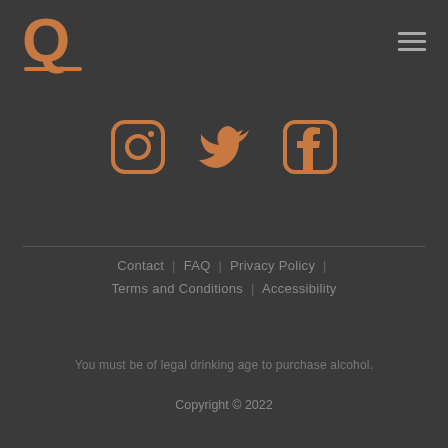[Figure (logo): Stylized letter Q logo in copper/bronze color with underline stroke]
[Figure (illustration): Hamburger menu icon (three horizontal lines) in grey on top right]
[Figure (illustration): Social media icons row: Instagram, Twitter, Facebook in copper/bronze color]
Contact  |  FAQ  |  Privacy Policy  |  Terms and Conditions  |  Accessibility
You must be of legal drinking age to purchase alcohol.
Copyright © 2022